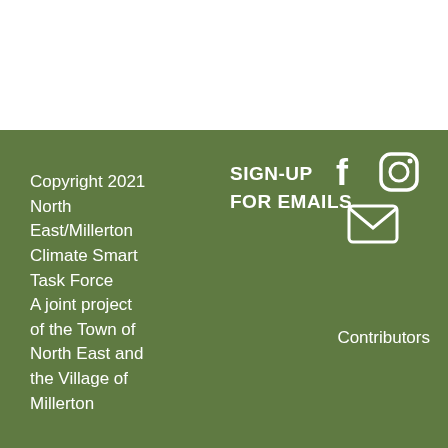Copyright 2021 North East/Millerton Climate Smart Task Force A joint project of the Town of North East and the Village of Millerton
SIGN-UP FOR EMAILS
[Figure (illustration): Social media icons: Facebook (f), Instagram (camera), and email envelope icon, in white on green background]
Contributors